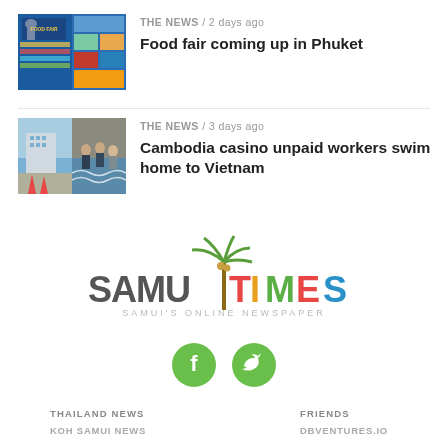[Figure (photo): Thumbnail image for Food fair coming up in Phuket article]
THE NEWS / 2 days ago
Food fair coming up in Phuket
[Figure (photo): Thumbnail image for Cambodia casino unpaid workers swim home to Vietnam article]
THE NEWS / 3 days ago
Cambodia casino unpaid workers swim home to Vietnam
[Figure (logo): Samui Times logo with palm tree — SAMUITIMES SAMUI'S ONLINE NEWSPAPER]
[Figure (infographic): Facebook and Twitter social media icons (green circles)]
THAILAND NEWS
KOH SAMUI NEWS
FRIENDS
DBVENTURES.IO